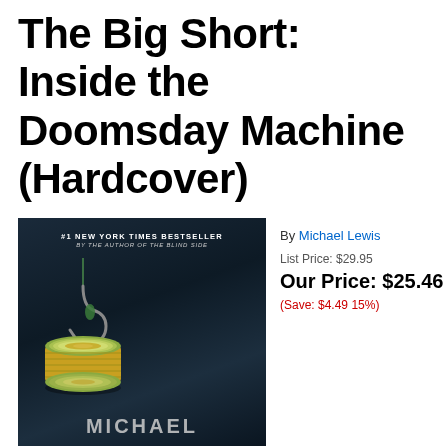The Big Short: Inside the Doomsday Machine (Hardcover)
[Figure (photo): Book cover of The Big Short by Michael Lewis, showing a rolled-up bundle of US dollar bills hanging from a fishing hook against a dark background, with text '#1 New York Times Bestseller by the author of The Blind Side' at the top and 'MICHAEL' partially visible at the bottom.]
By Michael Lewis
List Price: $29.95
Our Price: $25.46
(Save: $4.49 15%)